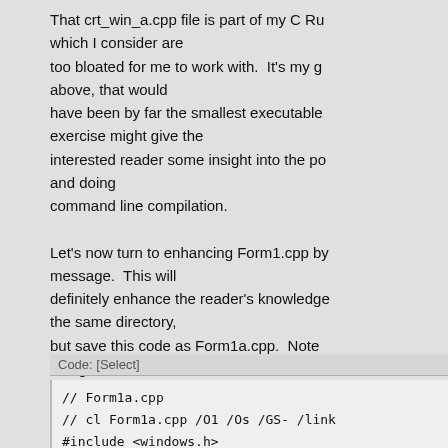That crt_win_a.cpp file is part of my C Ru which I consider are too bloated for me to work with. It's my g above, that would have been by far the smallest executable exercise might give the interested reader some insight into the po and doing command line compilation.

Let's now turn to enhancing Form1.cpp by message. This will definitely enhance the reader's knowledge the same directory, but save this code as Form1a.cpp. Note string.....
Code: [Select]
// Form1a.cpp
// cl Form1a.cpp /O1 /Os /GS- /link 
#include <windows.h>

LRESULT CALLBACK fnWndProc(HWND hwnd
{
 switch(msg)
 {